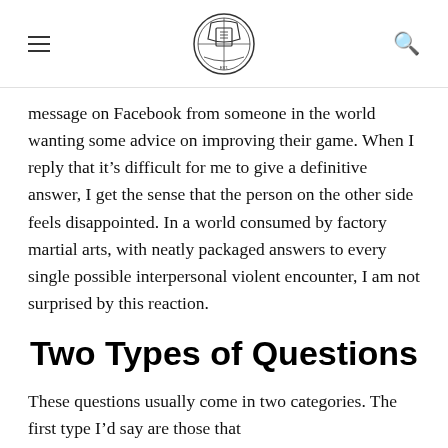[Navigation header with logo, hamburger menu, and search icon]
message on Facebook from someone in the world wanting some advice on improving their game. When I reply that it’s difficult for me to give a definitive answer, I get the sense that the person on the other side feels disappointed. In a world consumed by factory martial arts, with neatly packaged answers to every single possible interpersonal violent encounter, I am not surprised by this reaction.
Two Types of Questions
These questions usually come in two categories. The first type I’d say are those that...